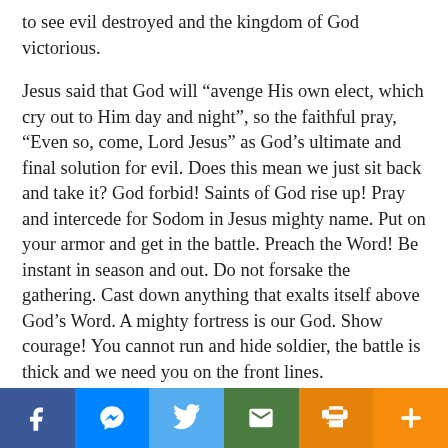to see evil destroyed and the kingdom of God victorious.
Jesus said that God will “avenge His own elect, which cry out to Him day and night”, so the faithful pray, “Even so, come, Lord Jesus” as God’s ultimate and final solution for evil. Does this mean we just sit back and take it? God forbid! Saints of God rise up! Pray and intercede for Sodom in Jesus mighty name. Put on your armor and get in the battle. Preach the Word! Be instant in season and out. Do not forsake the gathering. Cast down anything that exalts itself above God’s Word. A mighty fortress is our God. Show courage! You cannot run and hide soldier, the battle is thick and we need you on the front lines. #runyourrace
To Learn More About Pastor Crystal please visit
[Figure (infographic): Social media sharing bar with buttons: Facebook (blue), Messenger (blue), Twitter (light blue), Email (green), Print (orange), Plus/More (orange)]